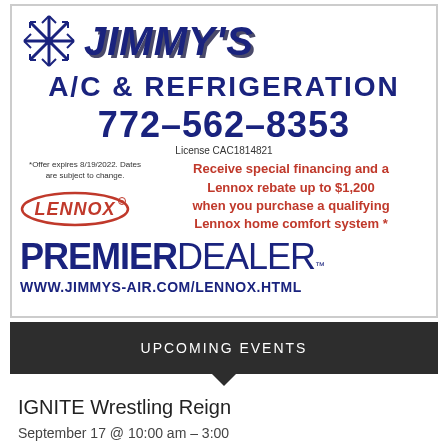[Figure (illustration): Jimmy's A/C & Refrigeration advertisement with snowflake logo, phone number, Lennox Premier Dealer branding, and special financing offer]
UPCOMING EVENTS
IGNITE Wrestling Reign
September 17 @ 10:00 am - 3:00